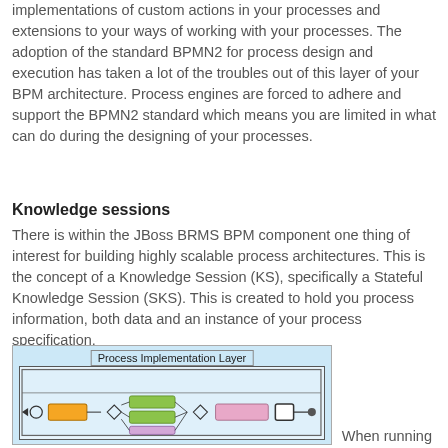implementations of custom actions in your processes and extensions to your ways of working with your processes. The adoption of the standard BPMN2 for process design and execution has taken a lot of the troubles out of this layer of your BPM architecture. Process engines are forced to adhere and support the BPMN2 standard which means you are limited in what can do during the designing of your processes.
Knowledge sessions
There is within the JBoss BRMS BPM component one thing of interest for building highly scalable process architectures. This is the concept of a Knowledge Session (KS), specifically a Stateful Knowledge Session (SKS). This is created to hold you process information, both data and an instance of your process specification.
[Figure (schematic): Diagram showing Process Implementation Layer with a BPMN2 process flow diagram inside a light blue bordered box, containing swim lanes and process nodes.]
When running